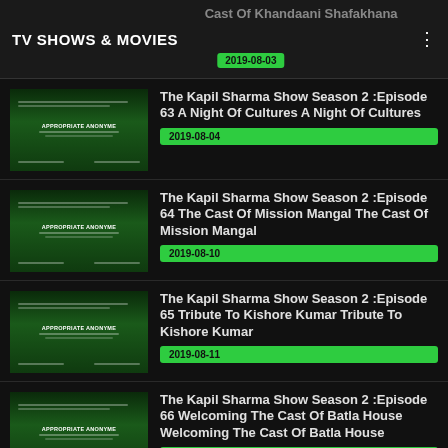TV SHOWS & MOVIES | Cast Of Khandaani Shafakhana | 2019-08-03
The Kapil Sharma Show Season 2 :Episode 63 A Night Of Cultures A Night Of Cultures | 2019-08-04
The Kapil Sharma Show Season 2 :Episode 64 The Cast Of Mission Mangal The Cast Of Mission Mangal | 2019-08-10
The Kapil Sharma Show Season 2 :Episode 65 Tribute To Kishore Kumar Tribute To Kishore Kumar | 2019-08-11
The Kapil Sharma Show Season 2 :Episode 66 Welcoming The Cast Of Batla House Welcoming The Cast Of Batla House | 2019-08-17